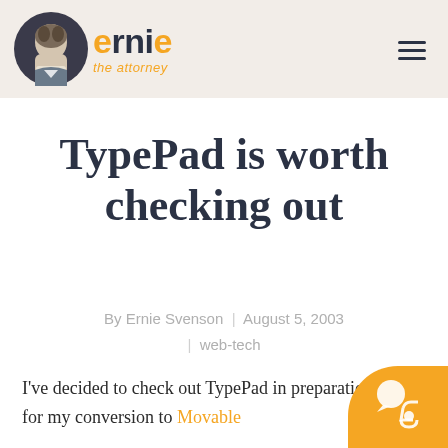ernie the attorney
TypePad is worth checking out
By Ernie Svenson | August 5, 2003 | web-tech
I've decided to check out TypePad in preparation for my conversion to Movable